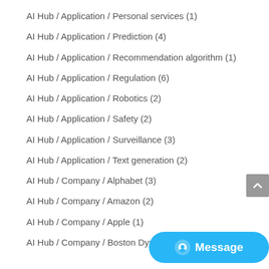AI Hub / Application / Personal services (1)
AI Hub / Application / Prediction (4)
AI Hub / Application / Recommendation algorithm (1)
AI Hub / Application / Regulation (6)
AI Hub / Application / Robotics (2)
AI Hub / Application / Safety (2)
AI Hub / Application / Surveillance (3)
AI Hub / Application / Text generation (2)
AI Hub / Company / Alphabet (3)
AI Hub / Company / Amazon (2)
AI Hub / Company / Apple (1)
AI Hub / Company / Boston Dynamics (1)